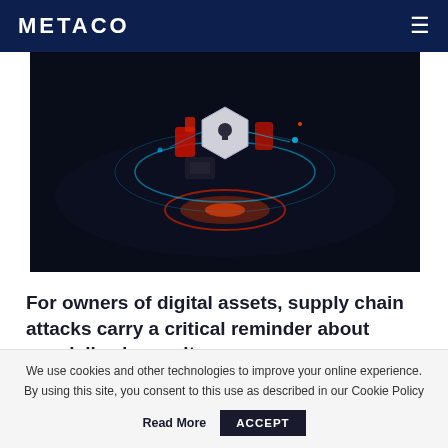METACO
[Figure (illustration): 3D isometric illustration of a digital security lock with red and cyan glowing elements on a dark circular background, representing cybersecurity for digital assets]
For owners of digital assets, supply chain attacks carry a critical reminder about specialized security
Why specialized digital asset security plays a
We use cookies and other technologies to improve your online experience. By using this site, you consent to this use as described in our Cookie Policy  Read More  ACCEPT